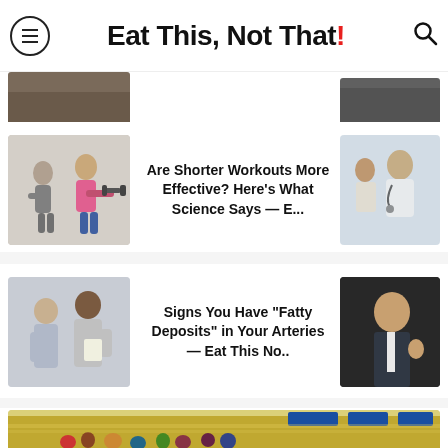Eat This, Not That!
[Figure (screenshot): Partial top of two article thumbnail images cropped at top]
[Figure (photo): Two women doing dumbbell exercises]
Are Shorter Workouts More Effective? Here's What Science Says — E...
[Figure (photo): Doctor speaking with patient]
[Figure (photo): Two men in business attire talking]
Signs You Have "Fatty Deposits" in Your Arteries — Eat This No..
[Figure (photo): Man speaking at a hearing or conference]
[Figure (photo): Wide interior shot of a crowded grocery store / Walmart with shoppers]